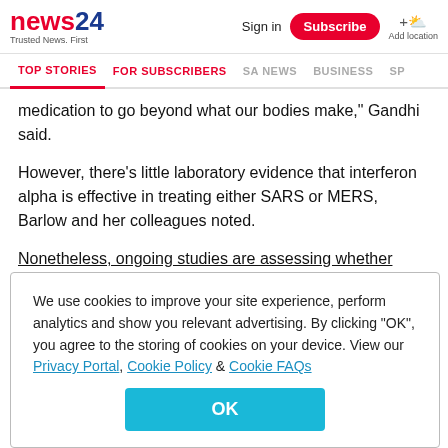news24 Trusted News. First | Sign in | Subscribe | Add location
TOP STORIES | FOR SUBSCRIBERS | SA NEWS | BUSINESS | SP
medication to go beyond what our bodies make," Gandhi said.
However, there's little laboratory evidence that interferon alpha is effective in treating either SARS or MERS, Barlow and her colleagues noted.
Nonetheless, ongoing studies are assessing whether
We use cookies to improve your site experience, perform analytics and show you relevant advertising. By clicking "OK", you agree to the storing of cookies on your device. View our Privacy Portal, Cookie Policy & Cookie FAQs
OK